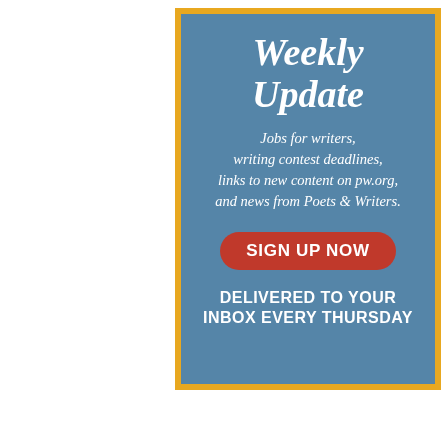[Figure (infographic): Advertisement for Poets & Writers Weekly Update newsletter. Blue background with gold border. Contains title 'Weekly Update', descriptive text about newsletter contents, a red 'SIGN UP NOW' button, and footer text 'DELIVERED TO YOUR INBOX EVERY THURSDAY'.]
Weekly Update
Jobs for writers, writing contest deadlines, links to new content on pw.org, and news from Poets & Writers.
SIGN UP NOW
DELIVERED TO YOUR INBOX EVERY THURSDAY